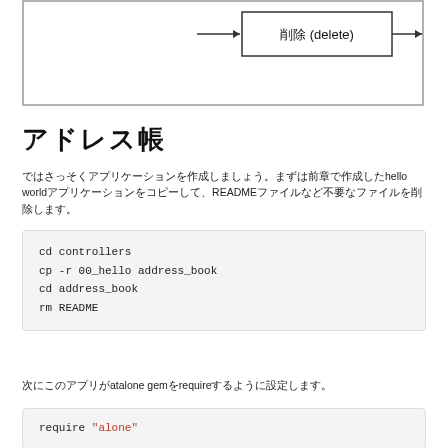[Figure (flowchart): Partial flowchart showing a box labeled '削除 (delete)' with an arrow entering from the left and an arrow exiting to the right, inside a larger bordered rectangle.]
アドレス帳
ではさっそくアプリケーションを作成しましょう。まずは前章で作成したhello worldアプリケーションをコピーして、READMEファイルなど不要なファイルを削除します。
cd controllers
cp -r 00_hello address_book
cd address_book
rm README
次にこのアプリがatalone gemをrequireするように設定します。
require "alone"